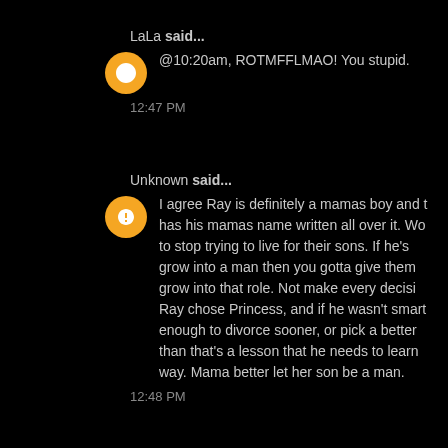LaLa said...
@10:20am, ROTMFFLMAO! You stupid.
12:47 PM
Unknown said...
I agree Ray is definitely a mamas boy and t has his mamas name written all over it. Wo to stop trying to live for their sons. If he's grow into a man then you gotta give them grow into that role. Not make every decisi Ray chose Princess, and if he wasn't smart enough to divorce sooner, or pick a better than that's a lesson that he needs to learn way. Mama better let her son be a man.
12:48 PM